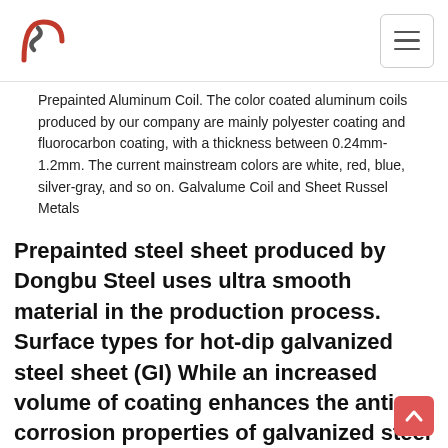[Logo: stylized S with arc] [Menu button]
Prepainted Aluminum Coil. The color coated aluminum coils produced by our company are mainly polyester coating and fluorocarbon coating, with a thickness between 0.24mm-1.2mm. The current mainstream colors are white, red, blue, silver-gray, and so on. Galvalume Coil and Sheet Russel Metals
Prepainted steel sheet produced by Dongbu Steel uses ultra smooth material in the production process. Surface types for hot-dip galvanized steel sheet (GI) While an increased volume of coating enhances the anti-corrosion properties of galvanized steel sheet, the workability is inevitably decreased.
Galvanized Steel - Taian Geruis New Material Co.Smooth Gorgeous Zinc Coated Welded Rectangular Galvanized Steel Pipe is also sometimes called galvanized iron pipe. Galvanized Steel Pipe has been coated with a layer of zinc. The zinc provides a barrier against corrosion so that Galvanized Steel Pipe...